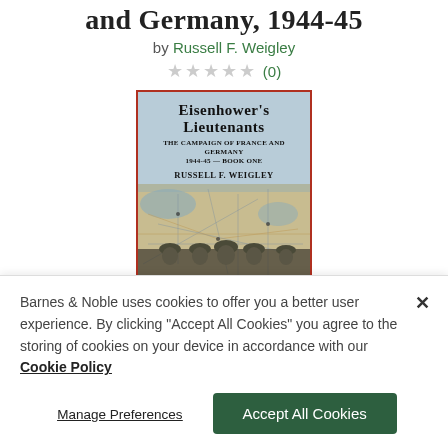and Germany, 1944-45
by Russell F. Weigley
★★★★★ (0)
[Figure (photo): Book cover of Eisenhower's Lieutenants: The Campaign of France and Germany 1944-45 — Book One by Russell F. Weigley, showing a blue-tinted map background with four WWII military officers in the foreground, red border.]
Barnes & Noble uses cookies to offer you a better user experience. By clicking "Accept All Cookies" you agree to the storing of cookies on your device in accordance with our Cookie Policy
Manage Preferences
Accept All Cookies